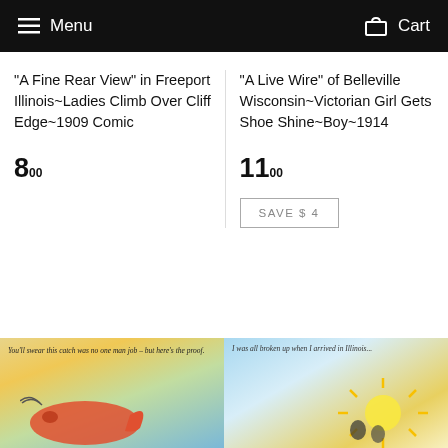Menu  Cart
"A Fine Rear View" in Freeport Illinois~Ladies Climb Over Cliff Edge~1909 Comic
8 00
"A Live Wire" of Belleville Wisconsin~Victorian Girl Gets Shoe Shine~Boy~1914
11 00
SAVE $ 4
[Figure (photo): Vintage comic postcard with large fish and buildings, text reads: You'll swear this catch was no one man job – but here's the proof.]
[Figure (photo): Vintage comic postcard with sunburst and figure, cursive text reads: I was all broken up when I arrived in Illinois...]